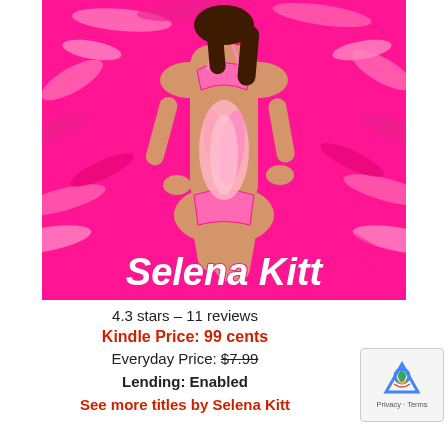[Figure (illustration): Book cover for Selena Kitt — woman in pink lingerie against hot pink feather background with author name 'Selena Kitt' in white italic bubble letters at the bottom of the cover]
4.3 stars – 11 reviews
Kindle Price: 99 cents
Everyday Price: $7.99
Lending: Enabled
See more titles by Selena Kitt